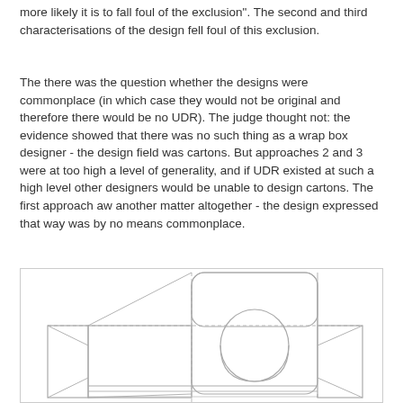more likely it is to fall foul of the exclusion". The second and third characterisations of the design fell foul of this exclusion.
The there was the question whether the designs were commonplace (in which case they would not be original and therefore there would be no UDR). The judge thought not: the evidence showed that there was no such thing as a wrap box designer - the design field was cartons. But approaches 2 and 3 were at too high a level of generality, and if UDR existed at such a high level other designers would be unable to design cartons. The first approach aw another matter altogether - the design expressed that way was by no means commonplace.
[Figure (engineering-diagram): Technical flat/unfolded box carton design diagram showing a box template with dashed fold lines, solid cut lines, rounded rectangular panels, a circular window cutout on the main front panel, side flaps, and top/bottom closure panels.]